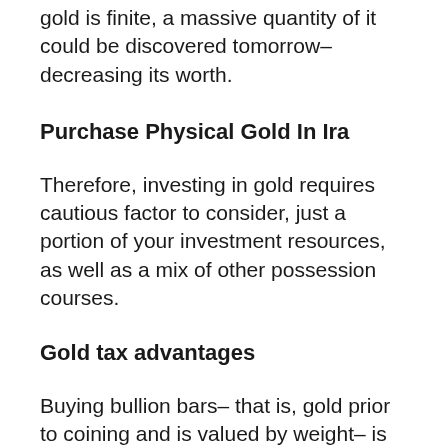gold is finite, a massive quantity of it could be discovered tomorrow– decreasing its worth.
Purchase Physical Gold In Ira
Therefore, investing in gold requires cautious factor to consider, just a portion of your investment resources, as well as a mix of other possession courses.
Gold tax advantages
Buying bullion bars– that is, gold prior to coining and is valued by weight– is tax obligation as well as stamp duty-free in the UK and the EU. Exhausting regulations range countries as well as may be much less